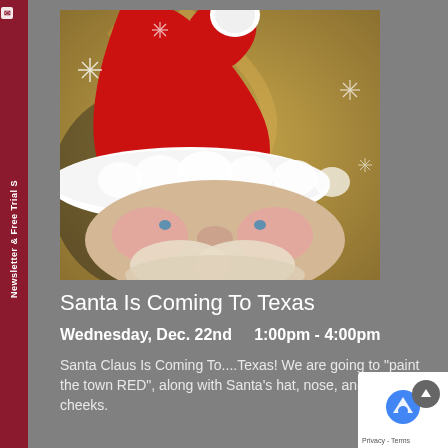[Figure (illustration): A painting of Santa Claus close-up, showing his red hat with white fur trim, rosy cheeks, blue eyes, white beard and mustache, against a golden swirly background with snowflake-like star accents.]
Santa Is Coming To Texas
Wednesday, Dec. 22nd    1:00pm - 4:00pm
Santa Claus Is Coming To....Texas! We are going to "paint the town RED", along with Santa's hat, nose, and his rosy cheeks.